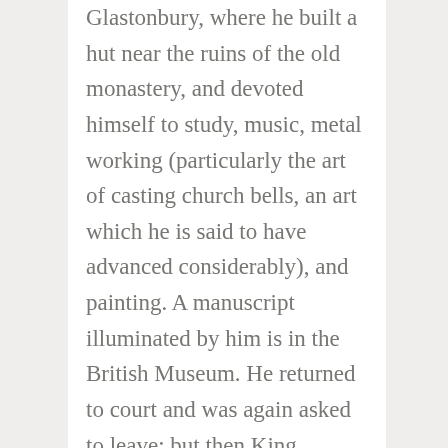Glastonbury, where he built a hut near the ruins of the old monastery, and devoted himself to study, music, metal working (particularly the art of casting church bells, an art which he is said to have advanced considerably), and painting. A manuscript illuminated by him is in the British Museum. He returned to court and was again asked to leave; but then King Edmund had a narrow escape from death while hunting, and in gratitude recalled Dunstan and in 943 commissioned him to re-establish monastic life at Glastonbury. (Glastonbury is one of the oldest Christian sites in England, and